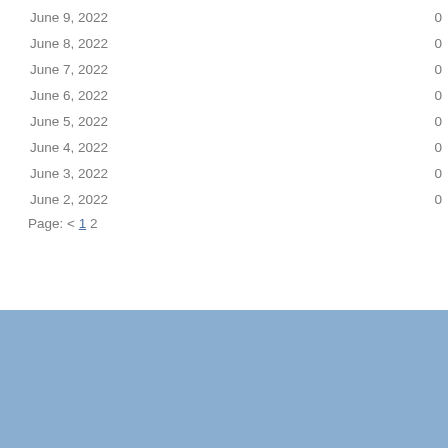| Date | Count |
| --- | --- |
| June 9, 2022 | 0 |
| June 8, 2022 | 0 |
| June 7, 2022 | 0 |
| June 6, 2022 | 0 |
| June 5, 2022 | 0 |
| June 4, 2022 | 0 |
| June 3, 2022 | 0 |
| June 2, 2022 | 0 |
Page: < 1 2